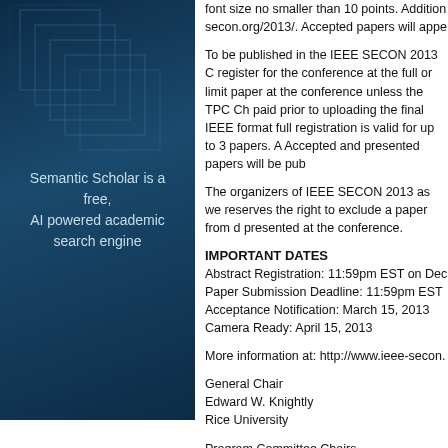[Figure (illustration): Semantic Scholar logo panel with dark blue background and grid/box overlay graphic. Text reads: 'Semantic Scholar is a free, AI powered academic search engine']
font size no smaller than 10 points. Addition secon.org/2013/. Accepted papers will appe
To be published in the IEEE SECON 2013 C register for the conference at the full or limit paper at the conference unless the TPC Ch paid prior to uploading the final IEEE format full registration is valid for up to 3 papers. A Accepted and presented papers will be pub
The organizers of IEEE SECON 2013 as we reserves the right to exclude a paper from d presented at the conference.
IMPORTANT DATES
Abstract Registration: 11:59pm EST on Dec
Paper Submission Deadline: 11:59pm EST
Acceptance Notification: March 15, 2013
Camera Ready: April 15, 2013
More information at: http://www.ieee-secon.
General Chair
Edward W. Knightly
Rice University
Program Committee Chairs
Deepak Ganesan
University of Massachusetts
Karthik Sundaresan